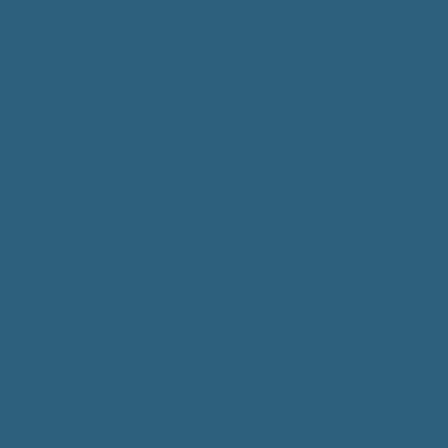Wilson spoiled me. I never had any p
So this is also something that we ta people just because you're a musici musicians have, we've allowed them the crap that we end up having to ta have to back it up. The bottom line i
* * *
In 1999, after twenty years at the hea to devote more time to performing a Two Faces, and in 2008 he was awa
◆ Bob Bernotas, 1997; revised 2 permission.
Photo: Carol Steuer
[Figure (other): Listings table with header row and two entries. Entry 1: photo of jazz performer (sepia toned, singer at microphone) with text '2007 ART OF JAZZ L JON HENDRICKS: "J'. Entry 2: photo of guitarist with text '2008 ART OF JAZZ L EGBERTO GISMONT']
2007 ART OF JAZZ L JON HENDRICKS: "J
2008 ART OF JAZZ L EGBERTO GISMONT